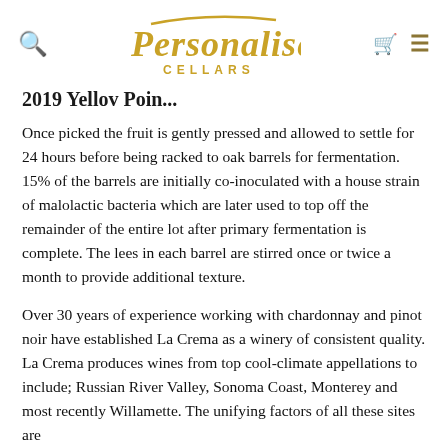Personalised Cellars
2019 Yellov Poin...
Once picked the fruit is gently pressed and allowed to settle for 24 hours before being racked to oak barrels for fermentation. 15% of the barrels are initially co-inoculated with a house strain of malolactic bacteria which are later used to top off the remainder of the entire lot after primary fermentation is complete. The lees in each barrel are stirred once or twice a month to provide additional texture.
Over 30 years of experience working with chardonnay and pinot noir have established La Crema as a winery of consistent quality. La Crema produces wines from top cool-climate appellations to include; Russian River Valley, Sonoma Coast, Monterey and most recently Willamette. The unifying factors of all these sites are